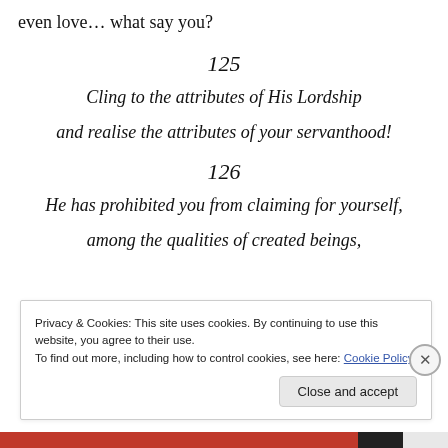even love… what say you?
125
Cling to the attributes of His Lordship
and realise the attributes of your servanthood!
126
He has prohibited you from claiming for yourself,
among the qualities of created beings,
Privacy & Cookies: This site uses cookies. By continuing to use this website, you agree to their use. To find out more, including how to control cookies, see here: Cookie Policy